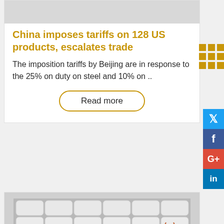[Figure (photo): Gray placeholder image at top of first article card]
China imposes tariffs on 128 US products, escalates trade
The imposition tariffs by Beijing are in response to the 25% on duty on steel and 10% on ..
Read more
[Figure (other): Gold grid/apps icon in upper right]
[Figure (other): Social media buttons: Twitter (blue), Facebook (dark blue), Google+ (red), LinkedIn (blue)]
[Figure (photo): Warehouse photograph showing stacked white bags/sacks with a forklift operator]